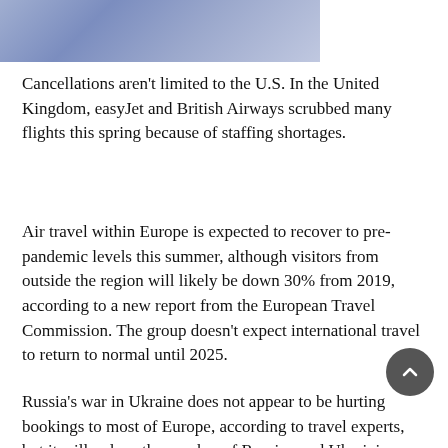[Figure (photo): Partial image at top of page showing a blue/purple gradient sky or background, cropped at page edge]
Cancellations aren't limited to the U.S. In the United Kingdom, easyJet and British Airways scrubbed many flights this spring because of staffing shortages.
Air travel within Europe is expected to recover to pre-pandemic levels this summer, although visitors from outside the region will likely be down 30% from 2019, according to a new report from the European Travel Commission. The group doesn't expect international travel to return to normal until 2025.
Russia's war in Ukraine does not appear to be hurting bookings to most of Europe, according to travel experts, but it will reduce the number of Russian and Ukrainian travelers, whose favorite destinations include Cyprus, Montenegro,